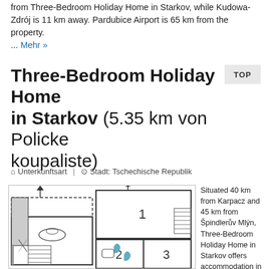from Three-Bedroom Holiday Home in Starkov, while Kudowa-Zdrój is 11 km away. Pardubice Airport is 65 km from the property. ... Mehr »
Three-Bedroom Holiday Home in Starkov (5.35 km von Policke koupaliste)
TOP
🏠 Unterkunftsart  |  🌐 Stadt: Tschechische Republik
[Figure (illustration): Floor plan of Three-Bedroom Holiday Home showing rooms numbered 1, 2, 3 with bathroom fixtures, stairs, and entrance arrows]
Situated 40 km from Karpacz and 45 km from Špindlerův Mlýn, Three-Bedroom Holiday Home in Starkov offers accommodation in Stárkov. The unit is 28 km from Policke Zdrój...